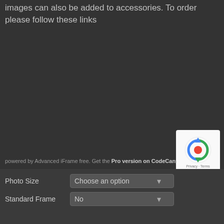images can also be added to accessories. To order please follow these links
powered by Advanced iFrame free. Get the Pro version on CodeCanyon.
Photo Size
Choose an option
Standard Frame
No
[Figure (logo): reCAPTCHA logo with Privacy and Terms links]